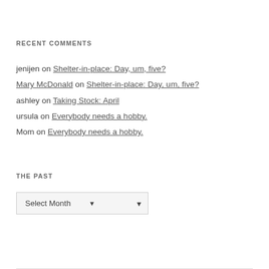RECENT COMMENTS
jenijen on Shelter-in-place: Day, um, five?
Mary McDonald on Shelter-in-place: Day, um, five?
ashley on Taking Stock: April
ursula on Everybody needs a hobby.
Mom on Everybody needs a hobby.
THE PAST
[Figure (other): Select Month dropdown widget]